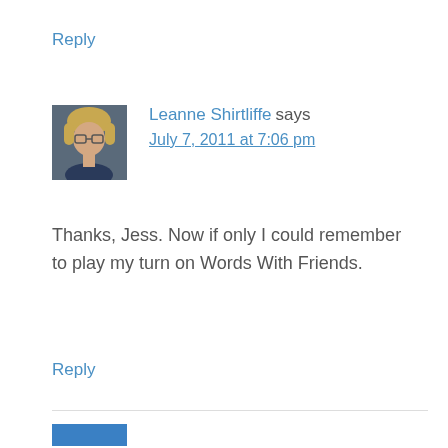Reply
Leanne Shirtliffe says
July 7, 2011 at 7:06 pm
[Figure (photo): Profile photo of Leanne Shirtliffe, a woman with short blonde hair and glasses]
Thanks, Jess. Now if only I could remember to play my turn on Words With Friends.
Reply